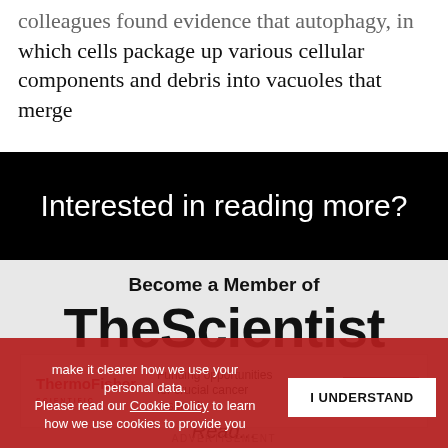colleagues found evidence that autophagy, in which cells package up various cellular components and debris into vacuoles that merge
Interested in reading more?
Become a Member of TheScientist
Receive full access to more than 35 years of archived articles, as well as To Read...
make it clearer how we use your personal data. Please read our Cookie Policy to learn how we use cookies to provide you
I UNDERSTAND
[Figure (other): ThermoFisher Scientific advertisement banner with text: Funding opportunities for crucial cancer research, Apply now button]